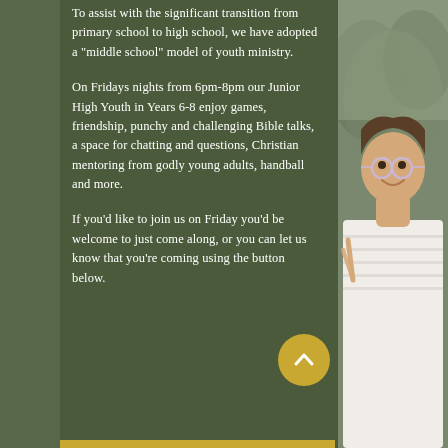To assist with the significant transition from primary school to high school, we have adopted a "middle school" model of youth ministry.
On Fridays nights from 6pm-8pm our Junior High Youth in Years 6-8 enjoy games, friendship, punchy and challenging Bible talks, a space for chatting and questions, Christian mentoring from godly young adults, handball and more.
If you'd like to join us on Friday you'd be welcome to just come along, or you can let us know that you're coming using the button below.
[Figure (photo): Young woman smiling, wearing glasses and a white striped shirt, making a peace sign gesture with her hand. Outdoor background with trees.]